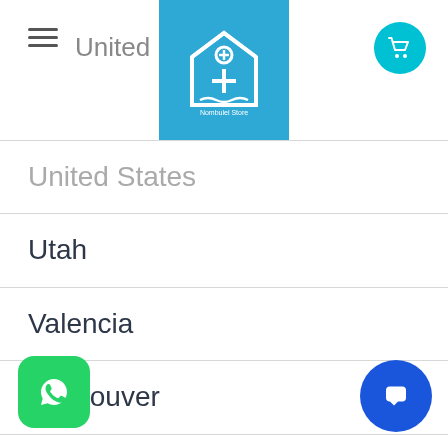United Kingdom | [Logo: Nombulel Store] | [Cart icon]
United States
Utah
Valencia
Vancouver
Virginia
Washington
Whitehorse
Wisconsin
Wollongong
York